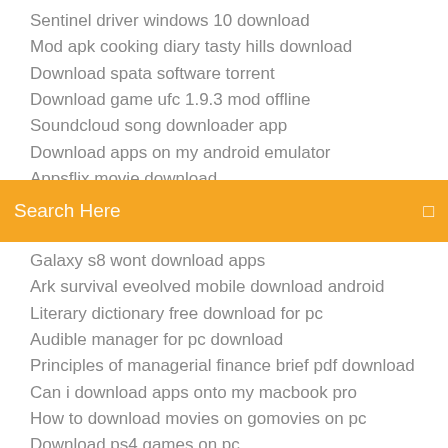Sentinel driver windows 10 download
Mod apk cooking diary tasty hills download
Download spata software torrent
Download game ufc 1.9.3 mod offline
Soundcloud song downloader app
Download apps on my android emulator
[Figure (screenshot): Orange search bar with text 'Search Here' and a small icon on the right]
Galaxy s8 wont download apps
Ark survival eveolved mobile download android
Literary dictionary free download for pc
Audible manager for pc download
Principles of managerial finance brief pdf download
Can i download apps onto my macbook pro
How to download movies on gomovies on pc
Download ps4 games on pc
Zedge for pc download
Downloader app kodi 17.3